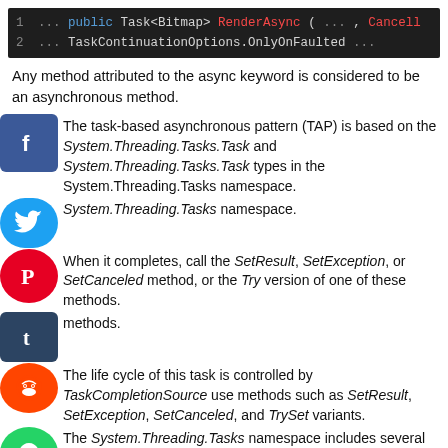[Figure (screenshot): Code snippet showing: 1 ...public Task<Bitmap> RenderAsync( ... , Cancell  2 ... TaskContinuationOptions.OnlyOnFaulted ...]
Any method attributed to the async keyword is considered to be an asynchronous method.
The task-based asynchronous pattern (TAP) is based on the System.Threading.Tasks.Task and System.Threading.Tasks.Task types in the System.Threading.Tasks namespace.
When it completes, call the SetResult, SetException, or SetCanceled method, or the Try version of one of these methods.
The life cycle of this task is controlled by TaskCompletionSource use methods such as SetResult, SetException, SetCanceled, and TrySet variants.
The System.Threading.Tasks namespace includes several key methods for the Task class.
These several methods are Task.Run, Task.FromResult, Task.WhenAll, Task.WhenAny and Task.De... Examples: